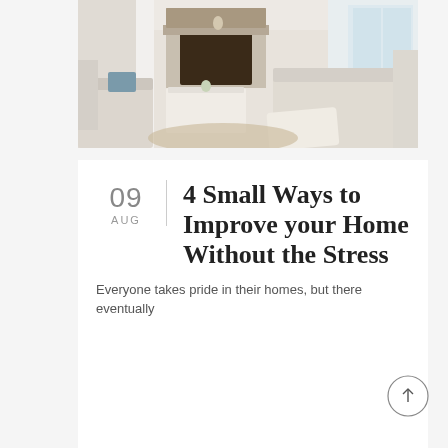[Figure (photo): Interior living room photo showing white/cream sofas, a stone fireplace, white center table, and natural light from windows on the right. Neutral tones throughout.]
4 Small Ways to Improve your Home Without the Stress
Everyone takes pride in their homes, but there eventually
09 AUG